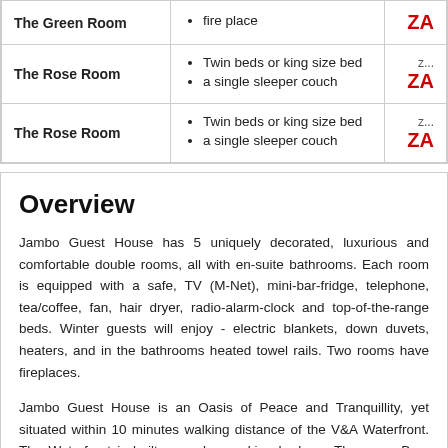| Room | Features | Price |
| --- | --- | --- |
| The Green Room | fire place | ZA... |
| The Rose Room | Twin beds or king size bed
a single sleeper couch | Z...
ZA... |
| The Rose Room | Twin beds or king size bed
a single sleeper couch | Z...
ZA... |
Overview
Jambo Guest House has 5 uniquely decorated, luxurious and comfortable double rooms, all with en-suite bathrooms. Each room is equipped with a safe, TV (M-Net), mini-bar-fridge, telephone, tea/coffee, fan, hair dryer, radio-alarm-clock and top-of-the-range beds. Winter guests will enjoy - electric blankets, down duvets, heaters, and in the bathrooms heated towel rails. Two rooms have fireplaces.
Jambo Guest House is an Oasis of Peace and Tranquillity, yet situated within 10 minutes walking distance of the V&A Waterfront. The Waterfront is built around a working harbour. There are Bars and Restaurants on the water`s edge, a large shopping mall with many more Restaurants, Shops, Cinemas and Craft Markets. Many Sailing Tours leave from there, as well as Helicopter Tours. It is an